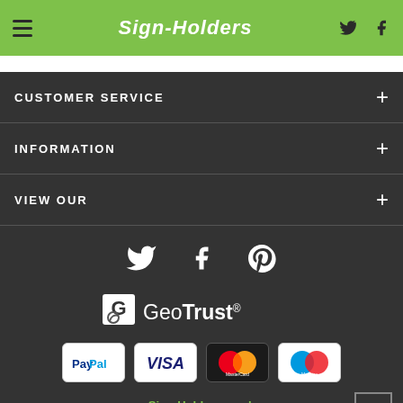Sign-Holders
CUSTOMER SERVICE
INFORMATION
VIEW OUR
[Figure (illustration): Social media icons: Twitter bird, Facebook f, Pinterest p]
[Figure (logo): GeoTrust security badge logo]
[Figure (illustration): Payment method logos: PayPal, Visa, MasterCard, Maestro]
Sign-Holders.co.uk is a trading name of Green Magic Co. UK Ltd